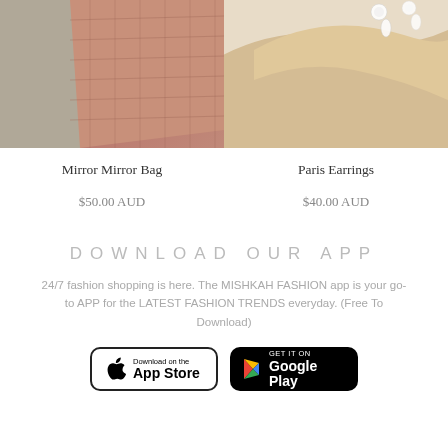[Figure (photo): Two product images side by side: left shows a quilted tan/brown mirror bag against grey background, right shows gold satin heels with crystal drop earrings on white background]
Mirror Mirror Bag
$50.00 AUD
Paris Earrings
$40.00 AUD
DOWNLOAD OUR APP
24/7 fashion shopping is here. The MISHKAH FASHION app is your go-to APP for the LATEST FASHION TRENDS everyday. (Free To Download)
[Figure (screenshot): App Store download button (black border, white background, Apple logo)]
[Figure (screenshot): Google Play download button (black background, Google Play triangle logo)]